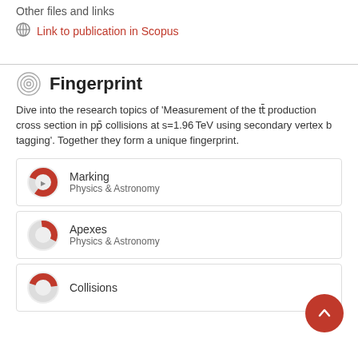Other files and links
Link to publication in Scopus
Fingerprint
Dive into the research topics of 'Measurement of the tt̄ production cross section in pp̄ collisions at s=1.96 TeV using secondary vertex b tagging'. Together they form a unique fingerprint.
Marking
Physics & Astronomy
Apexes
Physics & Astronomy
Collisions